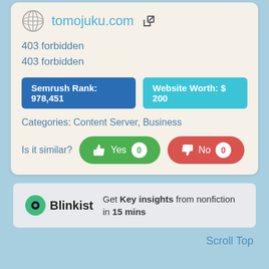tomojuku.com
403 forbidden
403 forbidden
Semrush Rank: 978,451
Website Worth: $ 200
Categories: Content Server, Business
Is it similar? Yes 0  No 0
[Figure (infographic): Blinkist advertisement banner: logo with green circle icon, bold text 'Blinkist', and tagline 'Get Key insights from nonfiction in 15 mins']
Scroll Top